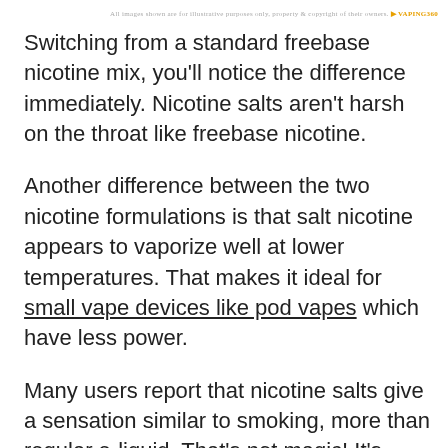All images shown are for illustrative purposes only, property & copyright of their owners. VAPING360
Switching from a standard freebase nicotine mix, you'll notice the difference immediately. Nicotine salts aren't harsh on the throat like freebase nicotine.
Another difference between the two nicotine formulations is that salt nicotine appears to vaporize well at lower temperatures. That makes it ideal for small vape devices like pod vapes which have less power.
Many users report that nicotine salts give a sensation similar to smoking, more than regular e-liquid. That's not magic! It's because many of the